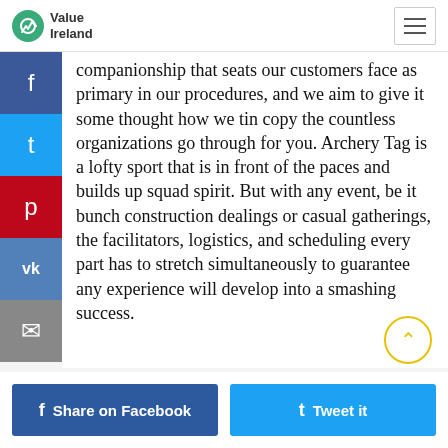Value Ireland
companionship that seats our customers face as primary in our procedures, and we aim to give it some thought how we tin copy the countless organizations go through for you. Archery Tag is a lofty sport that is in front of the paces and builds up squad spirit. But with any event, be it bunch construction dealings or casual gatherings, the facilitators, logistics, and scheduling every part has to stretch simultaneously to guarantee any experience will develop into a smashing success.
Share on Facebook
Tweet it